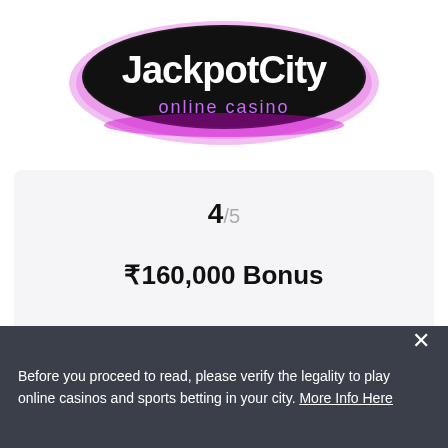[Figure (logo): JackpotCity online casino logo — black oval with pink neon glow, white text 'JackpotCity' and pink text 'online casino']
4/5
₹160,000 Bonus
PLAY NOW
Read Review
Before you proceed to read, please verify the legality to play online casinos and sports betting in your city. More Info Here